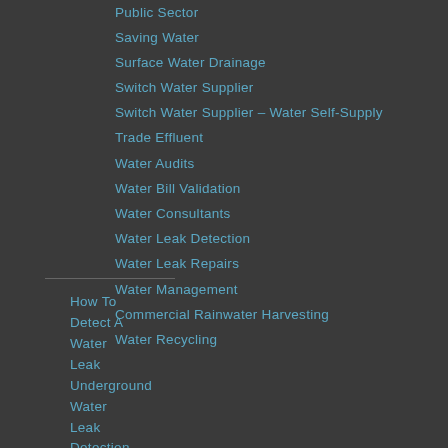Public Sector
Saving Water
Surface Water Drainage
Switch Water Supplier
Switch Water Supplier – Water Self-Supply
Trade Effluent
Water Audits
Water Bill Validation
Water Consultants
Water Leak Detection
Water Leak Repairs
Water Management
Commercial Rainwater Harvesting
Water Recycling
How To Detect A Water Leak Underground Water Leak Detection Water